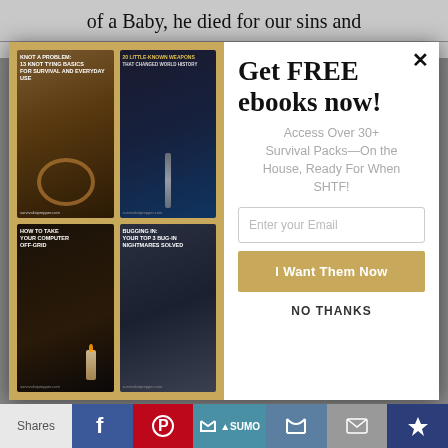of a Baby, he died for our sins and
[Figure (other): Popup modal showing four survival ebook covers on the left (Knot A Problem, 20 Little-Known Weapons That Changed World History, How To Take Your Computer Off-Grid, Bugging In: Your Top 3 Bug-In Nightmares Solved) and a call-to-action on the right with title 'Get FREE ebooks now!', subtitle 'Access Over 30+ Survival Packs—On the House, Ready For When SHTF!', email input field, 'I Want Them Now' button, and 'NO THANKS' link. Close X button in top right.]
Shares | Facebook | Pinterest | SUMO | Twitter | Mail | Crown